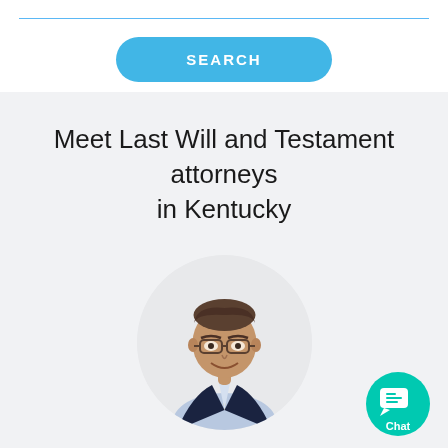[Figure (other): Horizontal blue line separator at top of page]
[Figure (other): Blue rounded rectangle SEARCH button]
Meet Last Will and Testament attorneys in Kentucky
[Figure (photo): Circular headshot photo of a middle-aged male attorney wearing a dark suit with a yellow tie and glasses, smiling]
[Figure (other): Teal circular chat button with speech bubble icon and 'Chat' text label in bottom right corner]